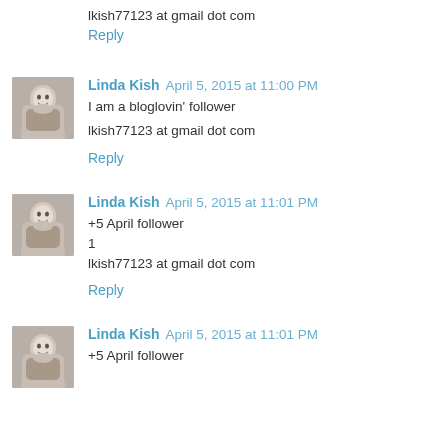lkish77123 at gmail dot com
Reply
Linda Kish  April 5, 2015 at 11:00 PM
I am a bloglovin' follower
lkish77123 at gmail dot com
Reply
Linda Kish  April 5, 2015 at 11:01 PM
+5 April follower
1
lkish77123 at gmail dot com
Reply
Linda Kish  April 5, 2015 at 11:01 PM
+5 April follower